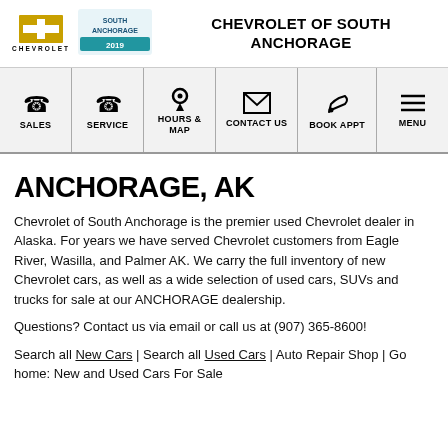CHEVROLET OF SOUTH ANCHORAGE
[Figure (screenshot): Navigation bar with icons for SALES, SERVICE, HOURS & MAP, CONTACT US, BOOK APPT, MENU]
ANCHORAGE, AK
Chevrolet of South Anchorage is the premier used Chevrolet dealer in Alaska. For years we have served Chevrolet customers from Eagle River, Wasilla, and Palmer AK. We carry the full inventory of new Chevrolet cars, as well as a wide selection of used cars, SUVs and trucks for sale at our ANCHORAGE dealership.
Questions? Contact us via email or call us at (907) 365-8600!
Search all New Cars | Search all Used Cars | Auto Repair Shop | Go home: New and Used Cars For Sale